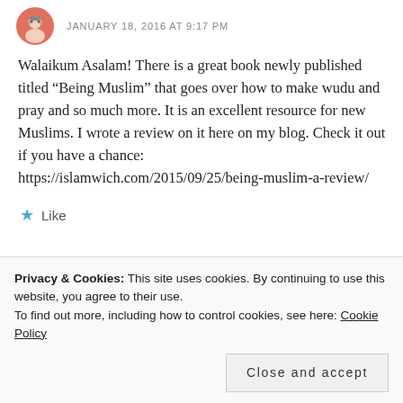JANUARY 18, 2016 AT 9:17 PM
Walaikum Asalam! There is a great book newly published titled “Being Muslim” that goes over how to make wudu and pray and so much more. It is an excellent resource for new Muslims. I wrote a review on it here on my blog. Check it out if you have a chance: https://islamwich.com/2015/09/25/being-muslim-a-review/
★ Like
Privacy & Cookies: This site uses cookies. By continuing to use this website, you agree to their use.
To find out more, including how to control cookies, see here: Cookie Policy
Close and accept